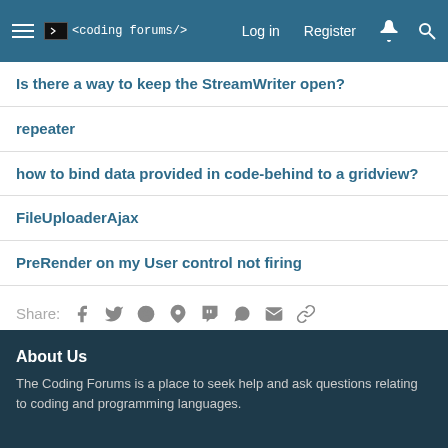< coding forums /> Log in Register
Is there a way to keep the StreamWriter open?
repeater
how to bind data provided in code-behind to a gridview?
FileUploaderAjax
PreRender on my User control not firing
Share: [social icons]
< ASP .Net
About Us
The Coding Forums is a place to seek help and ask questions relating to coding and programming languages.